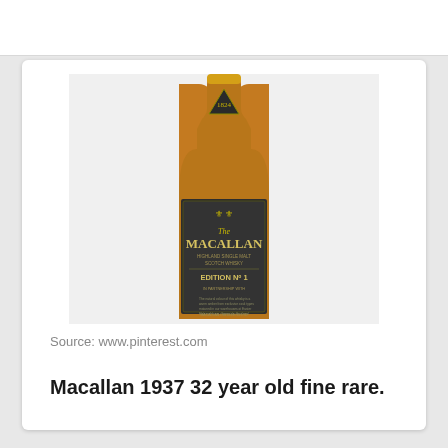[Figure (photo): A bottle of The Macallan whisky with a dark label reading 'The MACALLAN EDITION No 1'. The bottle has an amber/brown colored whisky visible, a yellow wax top, and a dark triangular neck label. The bottle label shows decorative crests and gold lettering.]
Source: www.pinterest.com
Macallan 1937 32 year old fine rare.